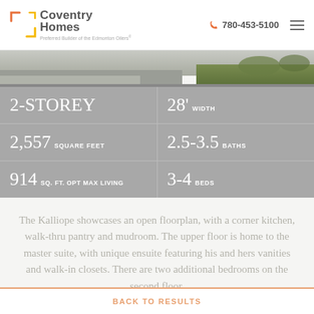[Figure (logo): Coventry Homes logo with orange corner brackets, subtitle 'Preferred Builder of the Edmonton Oilers']
[Figure (photo): Exterior photo strip of a home with driveway and green lawn]
| 2-STOREY | 28' WIDTH |
| 2,557 SQUARE FEET | 2.5-3.5 BATHS |
| 914 SQ. FT. OPT MAX LIVING | 3-4 BEDS |
The Kalliope showcases an open floorplan, with a corner kitchen, walk-thru pantry and mudroom. The upper floor is home to the master suite, with unique ensuite featuring his and hers vanities and walk-in closets. There are two additional bedrooms on the second floor.
BACK TO RESULTS